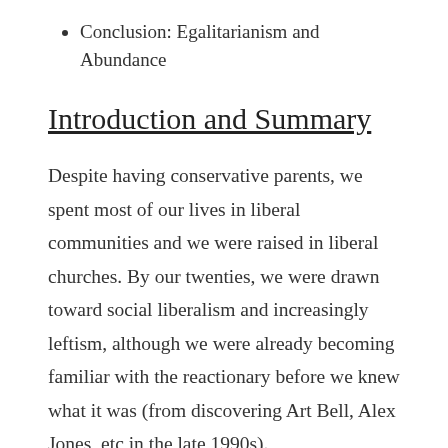Conclusion: Egalitarianism and Abundance
Introduction and Summary
Despite having conservative parents, we spent most of our lives in liberal communities and we were raised in liberal churches. By our twenties, we were drawn toward social liberalism and increasingly leftism, although we were already becoming familiar with the reactionary before we knew what it was (from discovering Art Bell, Alex Jones, etc in the late 1990s).